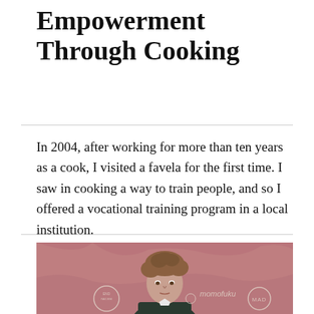Empowerment Through Cooking
In 2004, after working for more than ten years as a cook, I visited a favela for the first time. I saw in cooking a way to train people, and so I offered a vocational training program in a local institution.
[Figure (photo): A person with curly hair standing in front of a pinkish-red backdrop with sponsor logos including 'momofuku' and 'MAD' branding visible.]